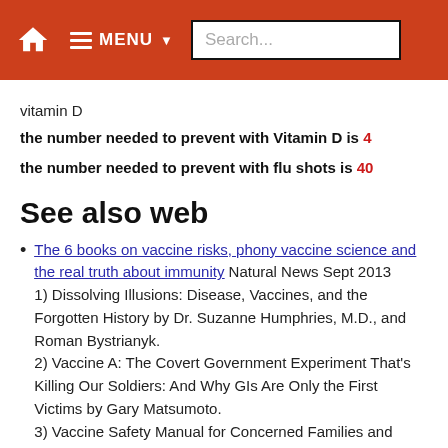MENU Search...
vitamin D
the number needed to prevent with Vitamin D is 4
the number needed to prevent with flu shots is 40
See also web
The 6 books on vaccine risks, phony vaccine science and the real truth about immunity Natural News Sept 2013
1) Dissolving Illusions: Disease, Vaccines, and the Forgotten History by Dr. Suzanne Humphries, M.D., and Roman Bystrianyk.
2) Vaccine A: The Covert Government Experiment That's Killing Our Soldiers: And Why GIs Are Only the First Victims by Gary Matsumoto.
3) Vaccine Safety Manual for Concerned Families and Health